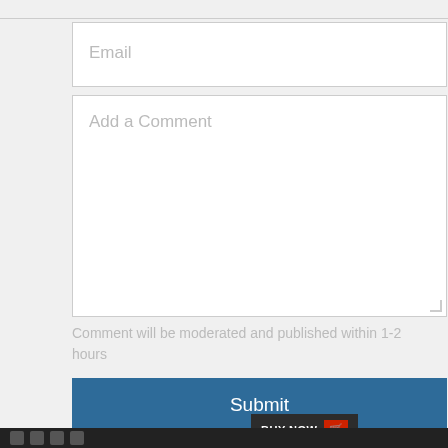Email
Add a Comment
Comment will be moderated and published within 1-2 hours
Submit
HPE0-G01 Questions Answers
HPE GreenLake Administrator Essentials
BUY NOW